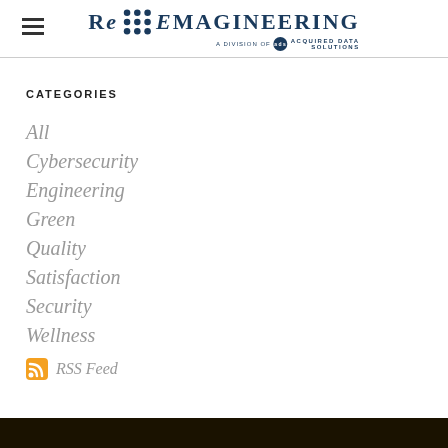[Figure (logo): Re-Emagineering logo with dot grid motif and 'A Division of Acquired Data Solutions' subtitle]
CATEGORIES
All
Cybersecurity
Engineering
Green
Quality
Satisfaction
Security
Wellness
RSS Feed